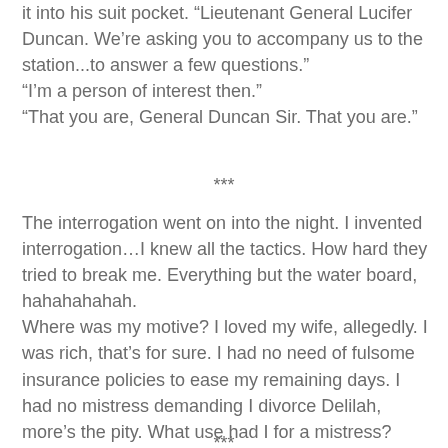it into his suit pocket. “Lieutenant General Lucifer Duncan. We’re asking you to accompany us to the station...to answer a few questions.”
“I’m a person of interest then.”
“That you are, General Duncan Sir. That you are.”
***
The interrogation went on into the night. I invented interrogation…I knew all the tactics. How hard they tried to break me. Everything but the water board, hahahahahah.
Where was my motive? I loved my wife, allegedly. I was rich, that’s for sure. I had no need of fulsome insurance policies to ease my remaining days. I had no mistress demanding I divorce Delilah, more’s the pity. What use had I for a mistress?
***